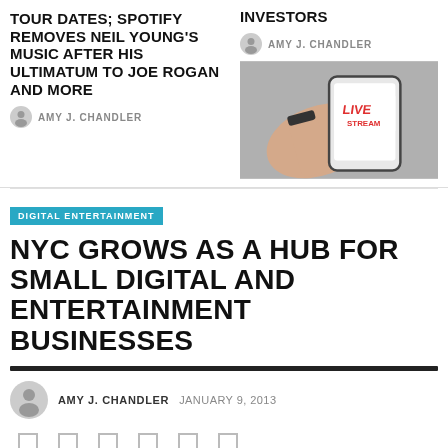TOUR DATES; SPOTIFY REMOVES NEIL YOUNG'S MUSIC AFTER HIS ULTIMATUM TO JOE ROGAN AND MORE
AMY J. CHANDLER
INVESTORS
AMY J. CHANDLER
[Figure (photo): Person holding a smartphone showing a LIVE STREAM interface]
DIGITAL ENTERTAINMENT
NYC GROWS AS A HUB FOR SMALL DIGITAL AND ENTERTAINMENT BUSINESSES
AMY J. CHANDLER   JANUARY 9, 2013